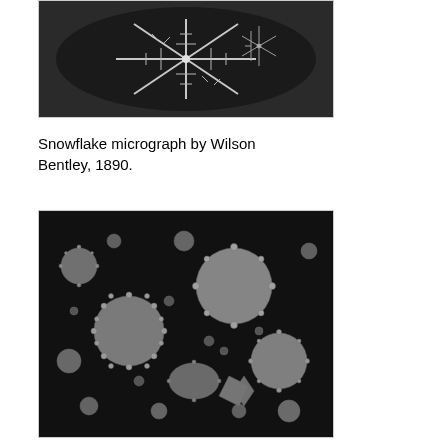[Figure (photo): Black and white snowflake micrograph photograph showing detailed snowflake crystal structure against dark background, by Wilson Bentley, 1890.]
Snowflake micrograph by Wilson Bentley, 1890.
[Figure (photo): Scanning electron microscope (SEM) image showing various pollen grains of different shapes and sizes against a dark background, appearing in grayscale.]